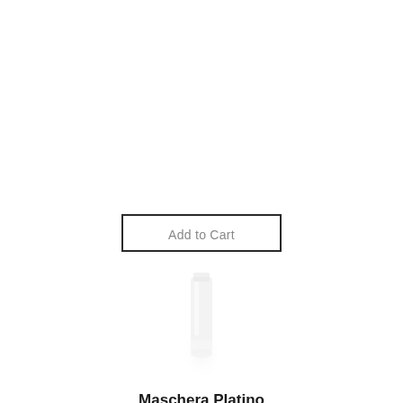Add to Cart
[Figure (photo): Product image of Maschera Platino — a pale white/cream bottle or tube shown vertically against a white background, partially blurred/faded]
Maschera Platino